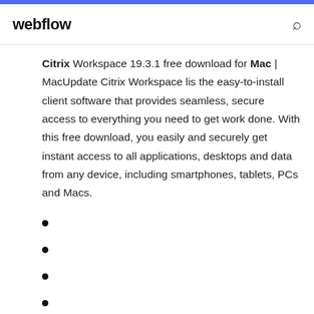webflow
Citrix Workspace 19.3.1 free download for Mac | MacUpdate Citrix Workspace lis the easy-to-install client software that provides seamless, secure access to everything you need to get work done. With this free download, you easily and securely get instant access to all applications, desktops and data from any device, including smartphones, tablets, PCs and Macs.